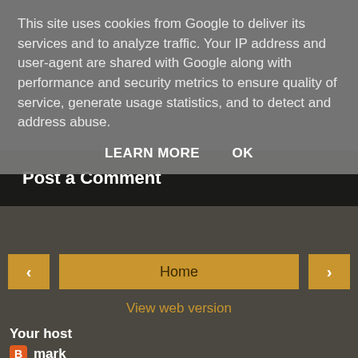This site uses cookies from Google to deliver its services and to analyze traffic. Your IP address and user-agent are shared with Google along with performance and security metrics to ensure quality of service, generate usage statistics, and to detect and address abuse.
LEARN MORE   OK
Post a Comment
< Home >
View web version
Your host
mark
Darkest Hampshire, United Kingdom
Husband, father, pop music anorak, guitarist, programmer, employee.
View my complete profile